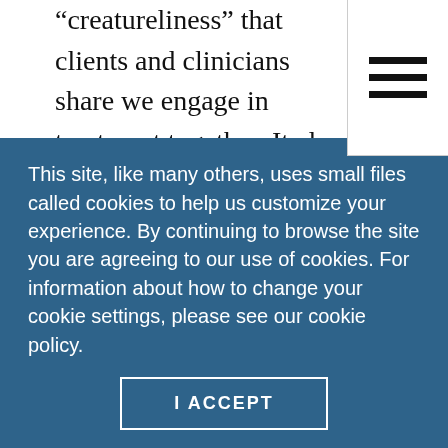“creatureliness” that clients and clinicians share we engage in treatment together. It also reminds that the genuine love that clients and animals of share for each other offers a model for experiencing trust, deep connection, unconditional love, pleasure, play and perhaps even joy. Such a wellspring of healing deserves the protection of ethical principles and professional practices.
Perhaps ACA will eventually recognize this in formal
This site, like many others, uses small files called cookies to help us customize your experience. By continuing to browse the site you are agreeing to our use of cookies. For information about how to change your cookie settings, please see our cookie policy.